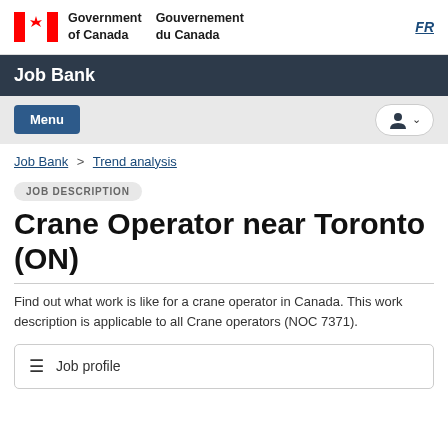Government of Canada / Gouvernement du Canada
Job Bank
Menu
Job Bank > Trend analysis
JOB DESCRIPTION
Crane Operator near Toronto (ON)
Find out what work is like for a crane operator in Canada. This work description is applicable to all Crane operators (NOC 7371).
Job profile